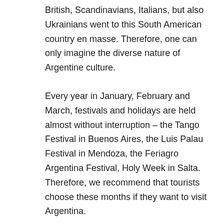British, Scandinavians, Italians, but also Ukrainians went to this South American country en masse. Therefore, one can only imagine the diverse nature of Argentine culture.
Every year in January, February and March, festivals and holidays are held almost without interruption – the Tango Festival in Buenos Aires, the Luis Palau Festival in Mendoza, the Feriagro Argentina Festival, Holy Week in Salta. Therefore, we recommend that tourists choose these months if they want to visit Argentina.
Argentina is the birthplace of the tango dance. Despite the fact that now tango belongs to the “ballroom” dances, for Argentines it is still a folk dance.
Cuisine of Argentina
Argentine cuisine has been influenced by the culinary traditions of the local Indians, Spaniards, Italians, and even